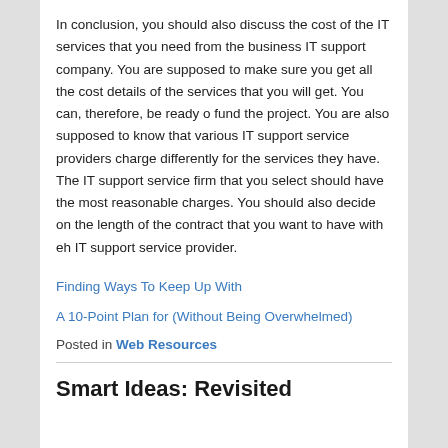In conclusion, you should also discuss the cost of the IT services that you need from the business IT support company. You are supposed to make sure you get all the cost details of the services that you will get. You can, therefore, be ready o fund the project. You are also supposed to know that various IT support service providers charge differently for the services they have. The IT support service firm that you select should have the most reasonable charges. You should also decide on the length of the contract that you want to have with eh IT support service provider.
Finding Ways To Keep Up With
A 10-Point Plan for (Without Being Overwhelmed)
Posted in Web Resources
Smart Ideas: Revisited